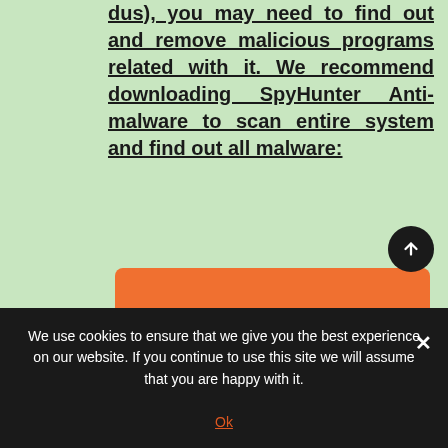dus), you may need to find out and remove malicious programs related with it. We recommend downloading SpyHunter Anti-malware to scan entire system and find out all malware:
Download SpyHunter Anti-Malware Now
(Free Remover allows you, subject to a 48-hour waiting period, one remediation and removal for results found. Read its EULA, Privacy Policy See more Free SpyHunter Remover details.)
We use cookies to ensure that we give you the best experience on our website. If you continue to use this site we will assume that you are happy with it.
Ok